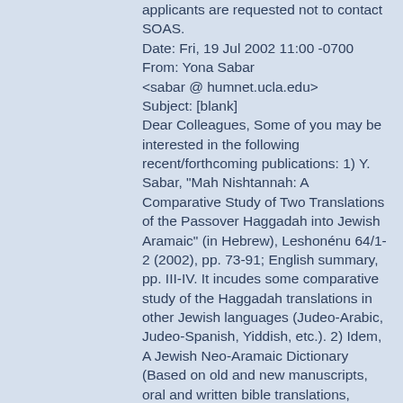applicants are requested not to contact SOAS. Date: Fri, 19 Jul 2002 11:00 -0700 From: Yona Sabar <sabar @ humnet.ucla.edu> Subject: [blank] Dear Colleagues, Some of you may be interested in the following recent/forthcoming publications: 1) Y. Sabar, "Mah Nishtannah: A Comparative Study of Two Translations of the Passover Haggadah into Jewish Aramaic" (in Hebrew), Leshonénu 64/1-2 (2002), pp. 73-91; English summary, pp. III-IV. It incudes some comparative study of the Haggadah translations in other Jewish languages (Judeo-Arabic, Judeo-Spanish, Yiddish, etc.). 2) Idem, A Jewish Neo-Aramaic Dictionary (Based on old and new manuscripts, oral and written bible translations, folkloric texts, and diverse spoken registers, with an introduction to grammar and semantics, and an index of Talmudic words which have reflexes in Jewish Neo-Aramaic), Harrasovitz Verlag, Semitica Viva vol. 28, expected August